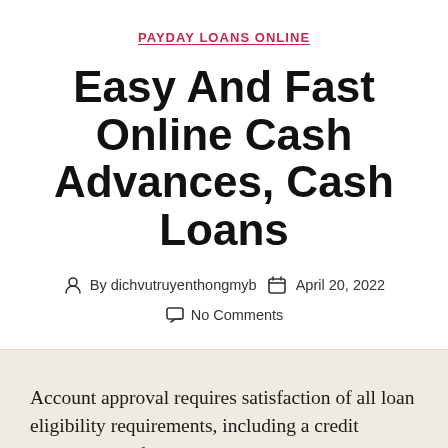PAYDAY LOANS ONLINE
Easy And Fast Online Cash Advances, Cash Loans
By dichvutruyenthongmyb   April 20, 2022   No Comments
Account approval requires satisfaction of all loan eligibility requirements, including a credit inquiry, and, if applicable, motor vehicle appraisal. All our lender-